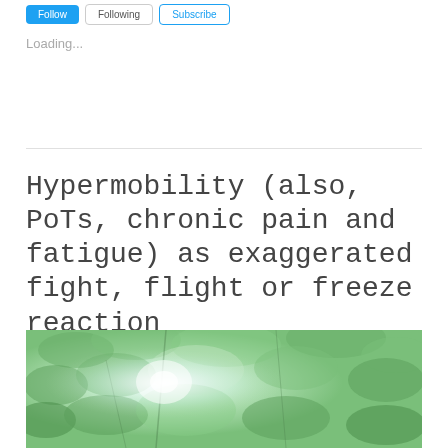Loading...
Loading...
Hypermobility (also, PoTs, chronic pain and fatigue) as exaggerated fight, flight or freeze reaction
[Figure (photo): Photograph of green leaves and branches with bright sunlight filtering through, light green and blue tones, soft focus nature scene]